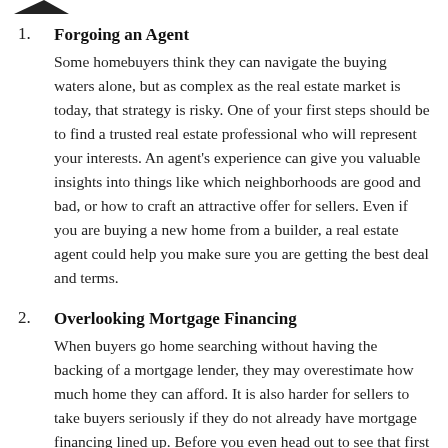Forgoing an Agent
Some homebuyers think they can navigate the buying waters alone, but as complex as the real estate market is today, that strategy is risky. One of your first steps should be to find a trusted real estate professional who will represent your interests. An agent's experience can give you valuable insights into things like which neighborhoods are good and bad, or how to craft an attractive offer for sellers. Even if you are buying a new home from a builder, a real estate agent could help you make sure you are getting the best deal and terms.
Overlooking Mortgage Financing
When buyers go home searching without having the backing of a mortgage lender, they may overestimate how much home they can afford. It is also harder for sellers to take buyers seriously if they do not already have mortgage financing lined up. Before you even head out to see that first property, get pre-approved